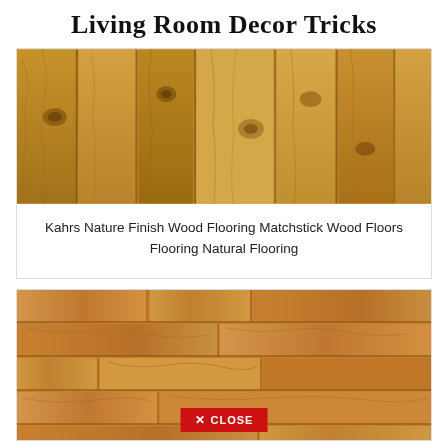Living Room Decor Tricks
[Figure (photo): Close-up photo of Kahrs Nature Finish wood flooring showing light golden oak planks with natural grain and knots]
Kahrs Nature Finish Wood Flooring Matchstick Wood Floors Flooring Natural Flooring
[Figure (photo): Close-up photo of natural wood flooring planks in a warm golden-brown tone with visible wood grain, with a red CLOSE button at the bottom]